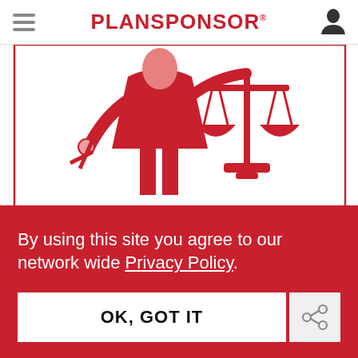PLANSPONSOR
[Figure (illustration): Red illustration of a justice figure holding a sword and scales of justice, inside a red border rectangle]
COMPLIANCE | April 27th, 2020
Baltimore County Settles Age
By using this site you agree to our network wide Privacy Policy.
OK, GOT IT